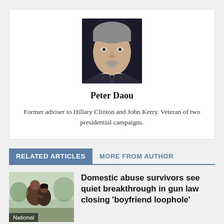[Figure (photo): Headshot of Peter Daou, a man with gray hair and goatee against a dark background]
Peter Daou
Former adviser to Hillary Clinton and John Kerry. Veteran of two presidential campaigns.
RELATED ARTICLES
MORE FROM AUTHOR
[Figure (photo): Photo of two people embracing, labeled National]
Domestic abuse survivors see quiet breakthrough in gun law closing 'boyfriend loophole'